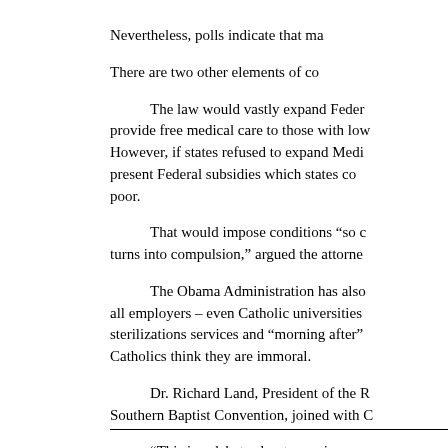Nevertheless, polls indicate that ma
There are two other elements of co
The law would vastly expand Feder provide free medical care to those with low However, if states refused to expand Medi present Federal subsidies which states co poor.
That would impose conditions “so c turns into compulsion,” argued the attorne
The Obama Administration has also all employers – even Catholic universities sterilizations services and “morning after” Catholics think they are immoral.
Dr. Richard Land, President of the R Southern Baptist Convention, joined with C
“This is a debate about coercion, no freedom, not fertility.  This is about princip
The law should be ruled unconstitut